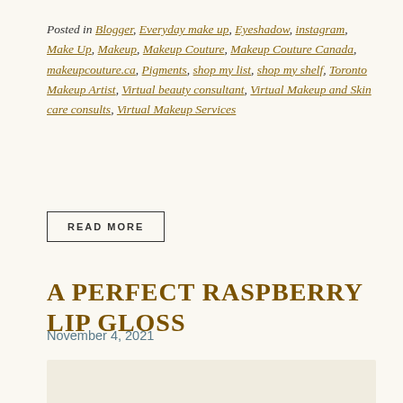Posted in Blogger, Everyday make up, Eyeshadow, instagram, Make Up, Makeup, Makeup Couture, Makeup Couture Canada, makeupcouture.ca, Pigments, shop my list, shop my shelf, Toronto Makeup Artist, Virtual beauty consultant, Virtual Makeup and Skin care consults, Virtual Makeup Services
READ MORE
A PERFECT RASPBERRY LIP GLOSS
November 4, 2021
[Figure (other): Partial image placeholder at bottom of page]